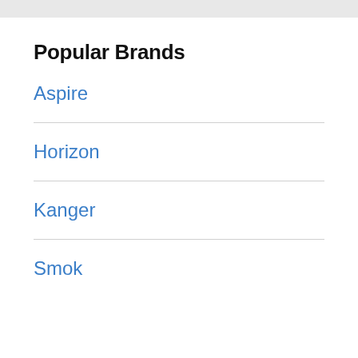Popular Brands
Aspire
Horizon
Kanger
Smok